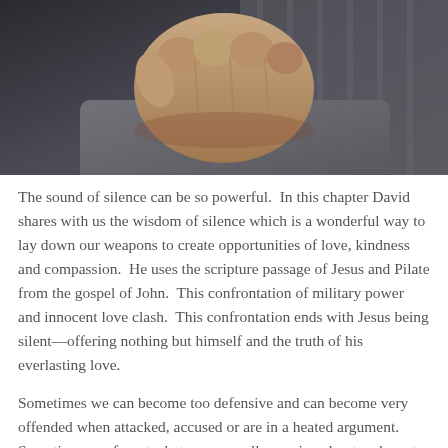[Figure (photo): Close-up photograph of hands clasped together or holding something, with dark blurred background. The image shows a fist or clasped hands in focus against a dark grey background.]
The sound of silence can be so powerful.  In this chapter David shares with us the wisdom of silence which is a wonderful way to lay down our weapons to create opportunities of love, kindness and compassion.  He uses the scripture passage of Jesus and Pilate from the gospel of John.  This confrontation of military power and innocent love clash.  This confrontation ends with Jesus being silent—offering nothing but himself and the truth of his everlasting love.
Sometimes we can become too defensive and can become very offended when attacked, accused or are in a heated argument.  Sometimes we forget what we are really arguing about and most often we